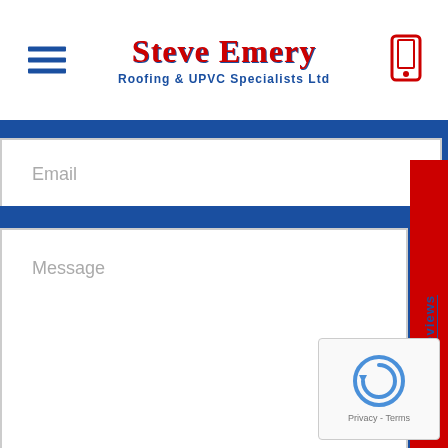Steve Emery Roofing & UPVC Specialists Ltd
[Figure (screenshot): Email input field with placeholder text 'Email']
[Figure (screenshot): Message textarea with placeholder text 'Message']
[Figure (screenshot): Red vertical tab on right side with 'Read Our Reviews' text rotated vertically]
[Figure (screenshot): Red SEND button with white bold text 'SEND']
[Figure (screenshot): reCAPTCHA widget in lower right corner with Privacy and Terms links]